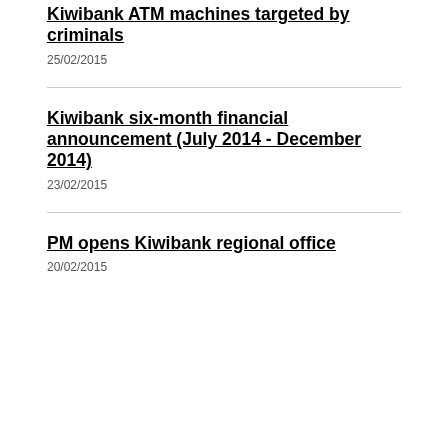Kiwibank ATM machines targeted by criminals
25/02/2015
Kiwibank six-month financial announcement (July 2014 - December 2014)
23/02/2015
PM opens Kiwibank regional office
20/02/2015